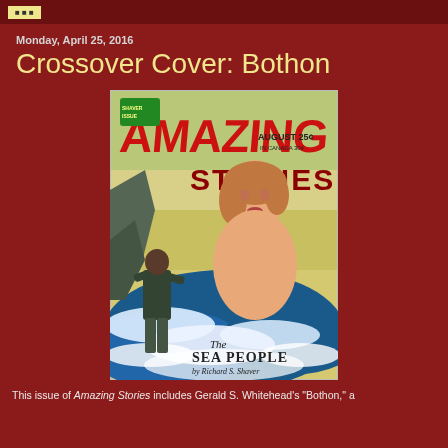Monday, April 25, 2016
Crossover Cover: Bothon
[Figure (illustration): Cover of Amazing Stories magazine, August issue, price 25 cents. Features large red 'AMAZING' text at top with 'STORIES' below in yellow-green. Shows a large semi-nude woman emerging from ocean waves with a man in dark clothes in the foreground. Bottom text reads 'The SEA PEOPLE by Richard S. Shaver'.]
This issue of Amazing Stories includes Gerald S. Whitehead's "Bothon," a